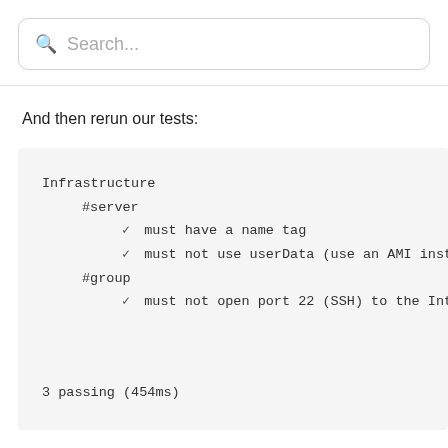[Figure (screenshot): Search bar with magnifying glass icon and placeholder text 'Search...']
And then rerun our tests:
Infrastructure
    #server
        ✓  must have a name tag
        ✓  must not use userData (use an AMI instead
    #group
        ✓  must not open port 22 (SSH) to the Intern

3 passing (454ms)